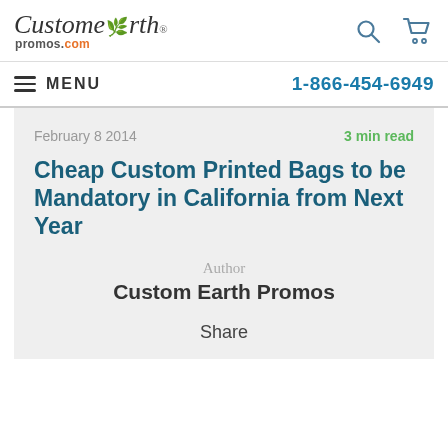CustomEarth promos.com
MENU   1-866-454-6949
February 8 2014   3 min read
Cheap Custom Printed Bags to be Mandatory in California from Next Year
Author
Custom Earth Promos
Share